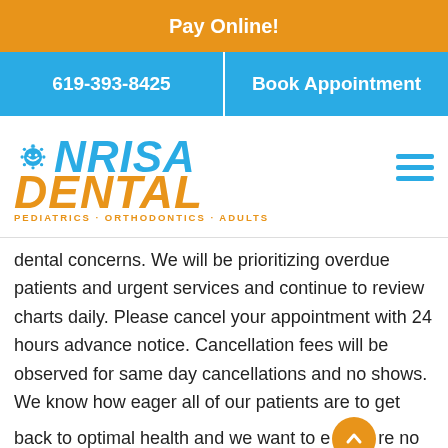Pay Online!
619-393-8425 | Book Appointment
[Figure (logo): Sonrisa Dental logo with sun/smile icon, blue SONRISA text and orange DENTAL text, tagline: PEDIATRICS · ORTHODONTICS · ADULTS]
dental concerns.  We will be prioritizing overdue patients and urgent services and continue to review charts daily. Please cancel your appointment with 24 hours advance notice. Cancellation fees will be observed for same day cancellations and no shows. We know how eager all of our patients are to get back to optimal health and we want to ensure no appointment times are wasted.  Thank you for your help.